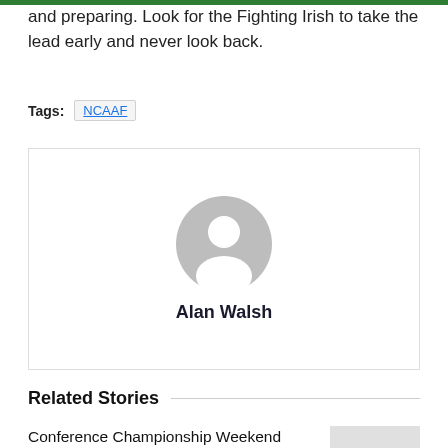and preparing. Look for the Fighting Irish to take the lead early and never look back.
Tags: NCAAF
[Figure (illustration): Author profile card with a generic gray user avatar icon and the name Alan Walsh in bold below it, inside a bordered white box]
Related Stories
Conference Championship Weekend Picks – Georgia to Roll Over Tide
BY ALAN WALSH · DECEMBER 3, 2021